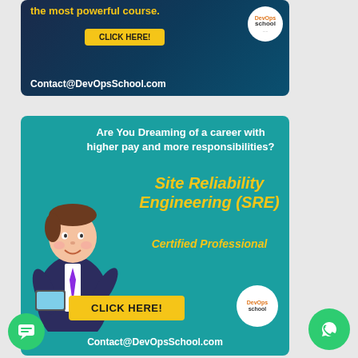[Figure (illustration): DevOps School advertisement banner (top): dark blue background with text 'the most powerful course.', yellow CLICK HERE button, Contact@DevOpsSchool.com, and DevOps School logo]
[Figure (illustration): DevOps School advertisement banner (bottom): teal background with cartoon businessman character, text 'Are You Dreaming of a career with higher pay and more responsibilities?', yellow 'Site Reliability Engineering (SRE) Certified Professional', yellow CLICK HERE button, DevOps School logo, Contact@DevOpsSchool.com]